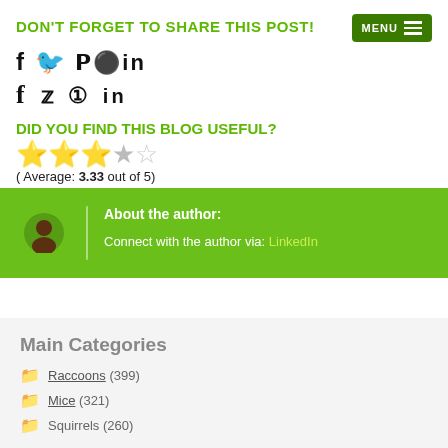DON'T FORGET TO SHARE THIS POST!
[Figure (other): Social media share icons: Facebook (f), Twitter (bird), Pinterest (P), LinkedIn (in)]
DID YOU FIND THIS BLOG USEFUL?
[Figure (other): Star rating: 3 filled gold stars, 1 half star, 1 empty star. Average: 3.33 out of 5]
( Average: 3.33 out of 5)
About the author: Connect with the author via: LinkedIn
Main Categories
Raccoons (399)
Mice (321)
Squirrels (260)